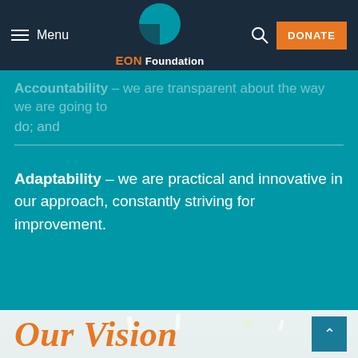Menu | EON Foundation | DONATE
Respect – for our program participants, our stakeholders and the local culture;
Accountability – we are transparent about the way we are going to do; and
Adaptability – we are practical and innovative in our approach, constantly striving for improvement.
[Figure (photo): Close-up photo of a green textured fabric or burlap surface with small scattered pieces, possibly seeds or plant material]
Our Vision